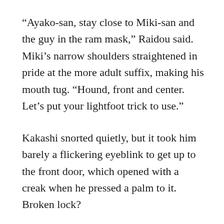“Ayako-san, stay close to Miki-san and the guy in the ram mask,” Raidou said. Miki’s narrow shoulders straightened in pride at the more adult suffix, making his mouth tug. “Hound, front and center. Let’s put your lightfoot trick to use.”
Kakashi snorted quietly, but it took him barely a flickering eyeblink to get up to the front door, which opened with a creak when he pressed a palm to it. Broken lock?
“Hasegawa-san said the side window was smashed in,” Ayako said, as if she’d read his mind. She’d stepped close to Ryouma, hugging